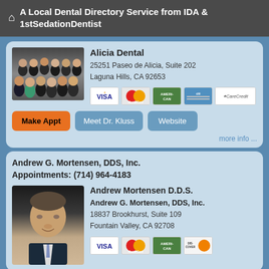A Local Dental Directory Service from IDA & 1stSedationDentist
Alicia Dental
25251 Paseo de Alicia, Suite 202
Laguna Hills, CA 92653
Make Appt | Meet Dr. Kluss | Website
more info ...
Andrew G. Mortensen, DDS, Inc.
Appointments: (714) 964-4183
Andrew Mortensen D.D.S.
Andrew G. Mortensen, DDS, Inc.
18837 Brookhurst, Suite 109
Fountain Valley, CA 92708